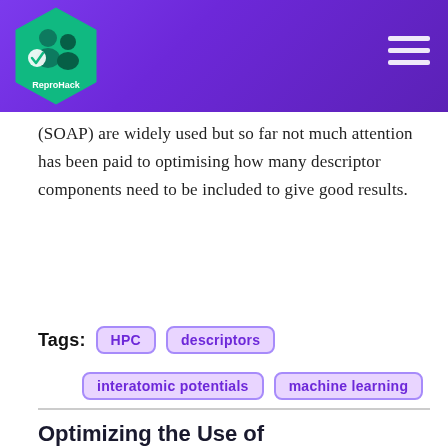[Figure (logo): ReproHack logo — hexagonal badge with teal background, figure of person and text 'ReproHack']
(SOAP) are widely used but so far not much attention has been paid to optimising how many descriptor components need to be included to give good results.
Tags: HPC descriptors interatomic potentials machine learning
Optimizing the Use of Carbonate Standards to